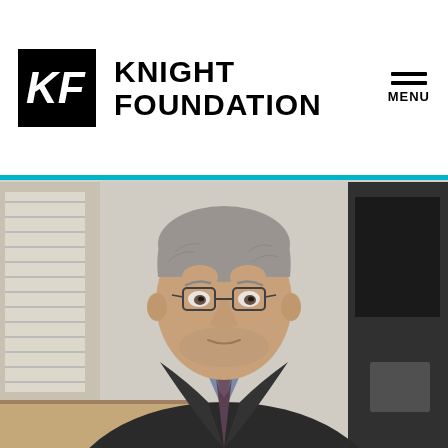[Figure (logo): Knight Foundation logo: black square with KF letters in white, followed by KNIGHT FOUNDATION text in bold black]
[Figure (photo): Professional portrait of a middle-aged man with gray hair and glasses, wearing a dark suit jacket with a striped shirt and dark tie, seated in an office setting]
MENU